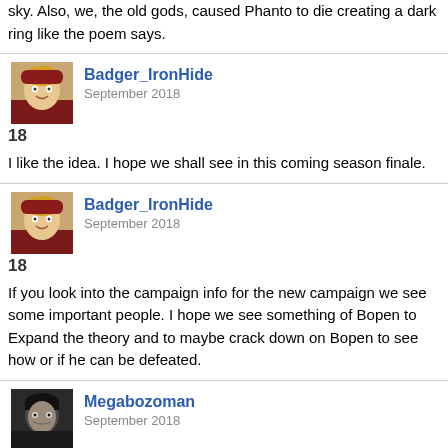sky. Also, we, the old gods, caused Phanto to die creating a dark ring like the poem says.
Badger_IronHide
September 2018
18
I like the idea. I hope we shall see in this coming season finale.
Badger_IronHide
September 2018
18
If you look into the campaign info for the new campaign we see some important people. I hope we see something of Bopen to Expand the theory and to maybe crack down on Bopen to see how or if he can be defeated.
Megabozoman
September 2018
17
my theory is that like the grand paladin has the source of all the realms light bopen has the source of all darkness fused to his soul but because hes ageless instead of waiting for someone to do a ritual or whatever it is you do to become the gp since his soul is more then likely not